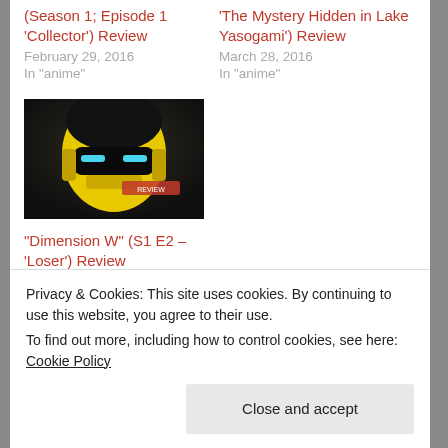(Season 1; Episode 1 'Collector') Review
February 29, 2016
In "anime"
'The Mystery Hidden in Lake Yasogami') Review
March 28, 2016
In "anime"
[Figure (photo): Anime robot/mech character with yellow helmet and blue eyes, dark background, REVIEW watermark]
“Dimension W” (S1 E2 – 'Loser') Review
March 6, 2016
In "anime"
Privacy & Cookies: This site uses cookies. By continuing to use this website, you agree to their use.
To find out more, including how to control cookies, see here: Cookie Policy
Close and accept